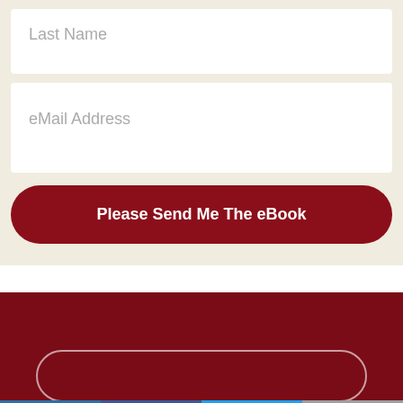Last Name
eMail Address
Please Send Me The eBook
[Figure (infographic): Dark red banner section with an oval/rounded rectangle outline shape at the bottom]
Social share bar with LinkedIn, Facebook, Twitter, and Email icons